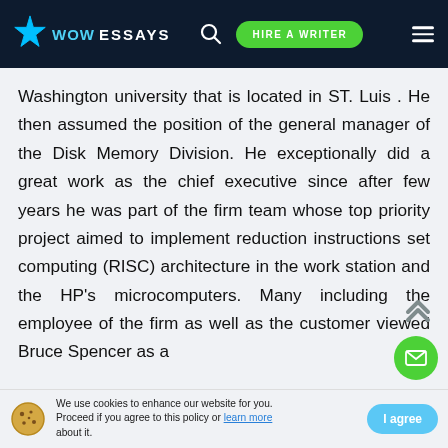WOW ESSAYS | HIRE A WRITER
Washington university that is located in ST. Luis . He then assumed the position of the general manager of the Disk Memory Division. He exceptionally did a great work as the chief executive since after few years he was part of the firm team whose top priority project aimed to implement reduction instructions set computing (RISC) architecture in the work station and the HP's microcomputers. Many including the employee of the firm as well as the customer viewed Bruce Spencer as a
We use cookies to enhance our website for you. Proceed if you agree to this policy or learn more about it.